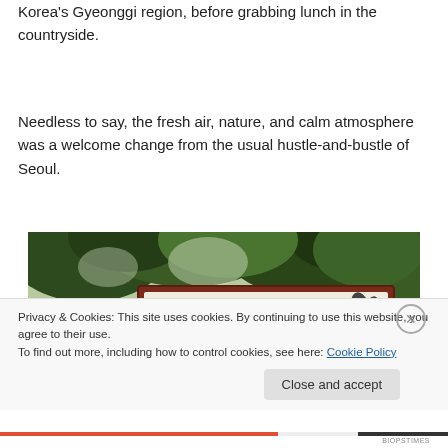Korea's Gyeonggi region, before grabbing lunch in the countryside.
Needless to say, the fresh air, nature, and calm atmosphere was a welcome change from the usual hustle-and-bustle of Seoul.
[Figure (photo): A sign with Korean characters (조희숙의) and a tree illustration, surrounded by green trees and foliage. The sign has a dark red/brown border and white background.]
Privacy & Cookies: This site uses cookies. By continuing to use this website, you agree to their use.
To find out more, including how to control cookies, see here: Cookie Policy
Close and accept